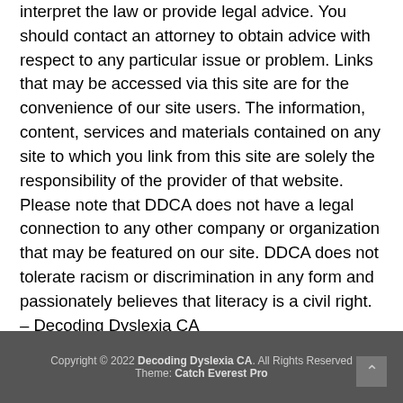interpret the law or provide legal advice. You should contact an attorney to obtain advice with respect to any particular issue or problem. Links that may be accessed via this site are for the convenience of our site users. The information, content, services and materials contained on any site to which you link from this site are solely the responsibility of the provider of that website. Please note that DDCA does not have a legal connection to any other company or organization that may be featured on our site. DDCA does not tolerate racism or discrimination in any form and passionately believes that literacy is a civil right. – Decoding Dyslexia CA
Copyright © 2022 Decoding Dyslexia CA. All Rights Reserved Theme: Catch Everest Pro